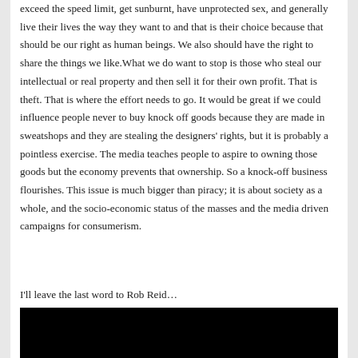exceed the speed limit, get sunburnt, have unprotected sex, and generally live their lives the way they want to and that is their choice because that should be our right as human beings. We also should have the right to share the things we like.What we do want to stop is those who steal our intellectual or real property and then sell it for their own profit. That is theft. That is where the effort needs to go. It would be great if we could influence people never to buy knock off goods because they are made in sweatshops and they are stealing the designers' rights, but it is probably a pointless exercise. The media teaches people to aspire to owning those goods but the economy prevents that ownership. So a knock-off business flourishes. This issue is much bigger than piracy; it is about society as a whole, and the socio-economic status of the masses and the media driven campaigns for consumerism.
I'll leave the last word to Rob Reid…
[Figure (photo): Black rectangle representing an embedded video player (dark/black screen)]